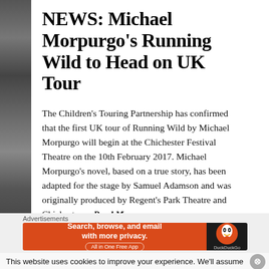NEWS: Michael Morpurgo's Running Wild to Head on UK Tour
The Children's Touring Partnership has confirmed that the first UK tour of Running Wild by Michael Morpurgo will begin at the Chichester Festival Theatre on the 10th February 2017. Michael Morpurgo's novel, based on a true story, has been adapted for the stage by Samuel Adamson and was originally produced by Regent's Park Theatre and Chichester… Read More
This website uses cookies to improve your experience. We'll assume
Advertisements
[Figure (infographic): DuckDuckGo advertisement banner: 'Search, browse, and email with more privacy. All in One Free App' with DuckDuckGo logo on dark background]